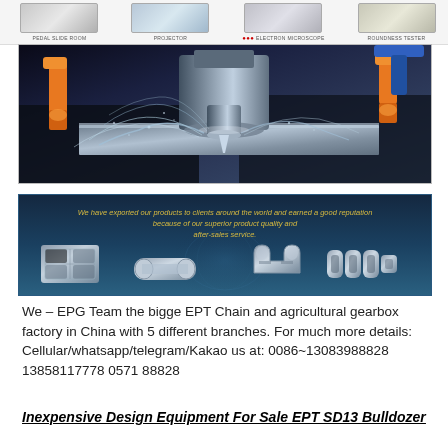[Figure (photo): Row of laboratory/testing equipment thumbnails with labels: PEDAL SLIDE ROOM, PROJECTOR, ELECTRON MICROSCOPE, ROUNDNESS TESTER]
[Figure (photo): CNC milling machine in operation with metal chips spraying, robotic arms visible, metallic blue and silver tones]
[Figure (photo): Dark blue banner showing chain and sprocket products with golden italic text: We have exported our products to clients around the world and earned a good reputation because of our superior product quality and after-sales service.]
We – EPG Team the bigge EPT Chain and agricultural gearbox factory in China with 5 different branches. For much more details: Cellular/whatsapp/telegram/Kakao us at: 0086~13083988828 13858117778 0571 88828
Inexpensive Design Equipment For Sale EPT SD13 Bulldozer